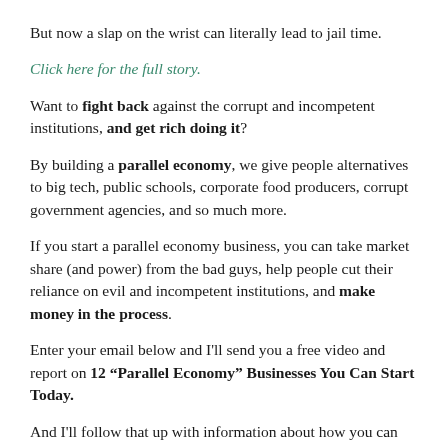But now a slap on the wrist can literally lead to jail time.
Click here for the full story.
Want to fight back against the corrupt and incompetent institutions, and get rich doing it?
By building a parallel economy, we give people alternatives to big tech, public schools, corporate food producers, corrupt government agencies, and so much more.
If you start a parallel economy business, you can take market share (and power) from the bad guys, help people cut their reliance on evil and incompetent institutions, and make money in the process.
Enter your email below and I'll send you a free video and report on 12 “Parallel Economy” Businesses You Can Start Today.
And I'll follow that up with information about how you can